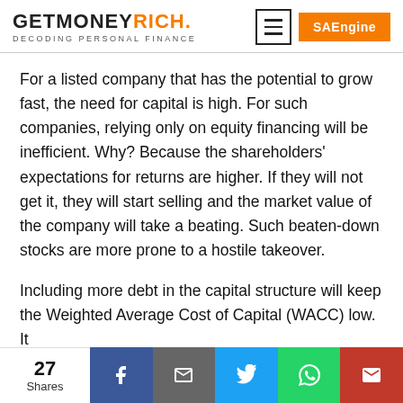GETMONEYRICH. Decoding Personal Finance
For a listed company that has the potential to grow fast, the need for capital is high. For such companies, relying only on equity financing will be inefficient. Why? Because the shareholders' expectations for returns are higher. If they will not get it, they will start selling and the market value of the company will take a beating. Such beaten-down stocks are more prone to a hostile takeover.
Including more debt in the capital structure will keep the Weighted Average Cost of Capital (WACC) low. It
27 Shares